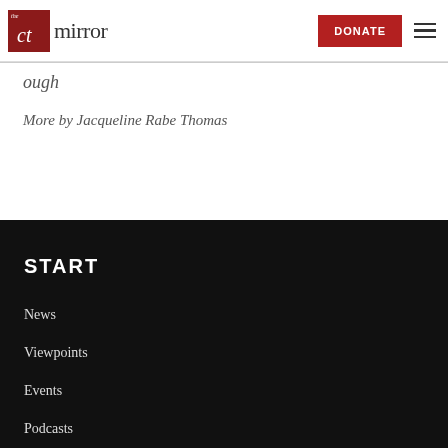the CT mirror | DONATE
ough
More by Jacqueline Rabe Thomas
START
News
Viewpoints
Events
Podcasts